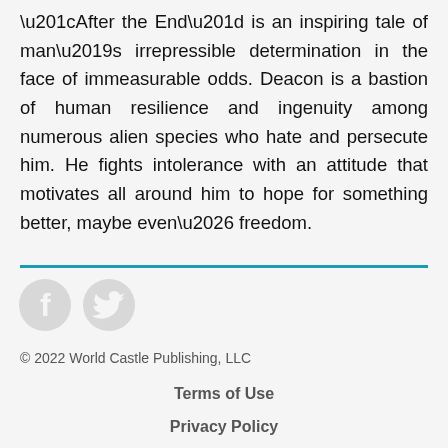“After the End” is an inspiring tale of man’s irrepressible determination in the face of immeasurable odds. Deacon is a bastion of human resilience and ingenuity among numerous alien species who hate and persecute him. He fights intolerance with an attitude that motivates all around him to hope for something better, maybe even… freedom.
[Figure (logo): Facebook and Twitter/X social media icons in light gray]
© 2022 World Castle Publishing, LLC
Terms of Use
Privacy Policy